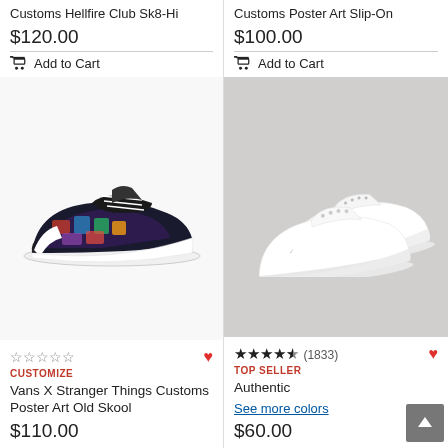Customs Hellfire Club Sk8-Hi
$120.00
Add to Cart
Customs Poster Art Slip-On
$100.00
Add to Cart
[Figure (photo): Vans X Stranger Things Customs Poster Art Old Skool sneaker - black with colorful floral/Stranger Things poster art side panel, white sole and stripe]
CUSTOMIZE
Vans X Stranger Things Customs Poster Art Old Skool
$110.00
[Figure (photo): Authentic white Vans sneakers, pair shown from slight angle on white/light grey background]
★★★★½ (1833)
TOP SELLER
Authentic
See more colors
$60.00